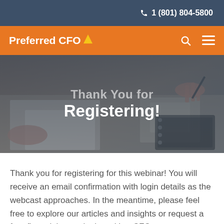1 (801) 804-5800
Preferred CFO
[Figure (photo): Background photo of hands working over documents, notebooks and papers on a desk, with a dark overlay. Contains text 'Thank You for Registering!']
Thank You for
Registering!
Thank you for registering for this webinar! You will receive an email confirmation with login details as the webcast approaches. In the meantime, please feel free to explore our articles and insights or request a free financial consultation with a CFO.